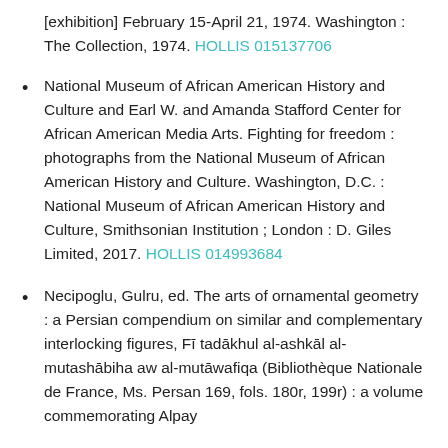[exhibition] February 15-April 21, 1974. Washington : The Collection, 1974. HOLLIS 015137706
National Museum of African American History and Culture and Earl W. and Amanda Stafford Center for African American Media Arts. Fighting for freedom : photographs from the National Museum of African American History and Culture. Washington, D.C. : National Museum of African American History and Culture, Smithsonian Institution ; London : D. Giles Limited, 2017. HOLLIS 014993684
Necipoglu, Gulru, ed. The arts of ornamental geometry : a Persian compendium on similar and complementary interlocking figures, Fī tadākhul al-ashkāl al-mutashābiha aw al-mutāwafiqa (Bibliothèque Nationale de France, Ms. Persan 169, fols. 180r-199r) : a volume commemorating Alpay